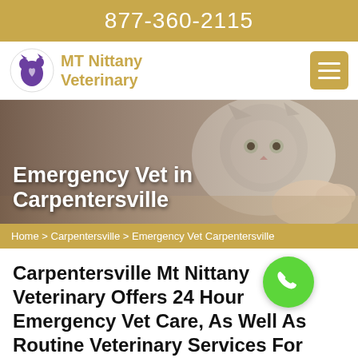877-360-2115
[Figure (logo): MT Nittany Veterinary logo with purple pet silhouette icon and gold text]
[Figure (photo): Photo of a gray fluffy kitten being examined by a veterinarian's hand, with text overlay 'Emergency Vet in Carpentersville']
Emergency Vet in Carpentersville
Home > Carpentersville > Emergency Vet Carpentersville
Carpentersville Mt Nittany Veterinary Offers 24 Hour Emergency Vet Care, As Well As Routine Veterinary Services For Your Pets. Our